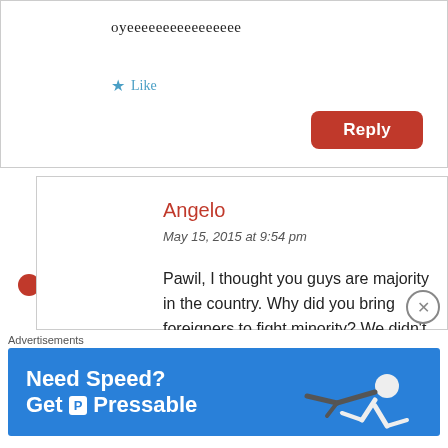oyeeeeeeeeeeeeeeee
Like
Reply
Angelo
May 15, 2015 at 9:54 pm
Pawil, I thought you guys are majority in the country. Why did you bring foreigners to fight minority? We didn't claim to be worriors n We didn't change the history of the Nation to be owned
Advertisements
[Figure (illustration): Blue advertisement banner for Pressable hosting reading 'Need Speed? Get Pressable' with a person flying horizontally]